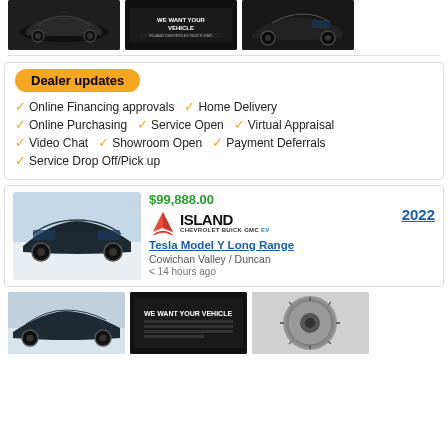[Figure (photo): Top photo strip showing three car thumbnail images: black Corvette, dark advertisement banner, black Corvette side view]
[Figure (infographic): Dealer updates section with orange badge and checkmark list of services]
Online Financing approvals  Home Delivery  Online Purchasing  Service Open  Virtual Appraisal  Video Chat  Showroom Open  Payment Deferrals  Service Drop Off/Pick up
[Figure (photo): Car listing card: 2022 Tesla Model Y Long Range, $99,888.00, Island Chevrolet Buick GMC EV dealer, Cowichan Valley / Duncan, less than 14 hours ago]
[Figure (photo): Bottom photo strip showing three car thumbnail images: dark Tesla side view, we want your vehicle advertisement, wheel close-up]